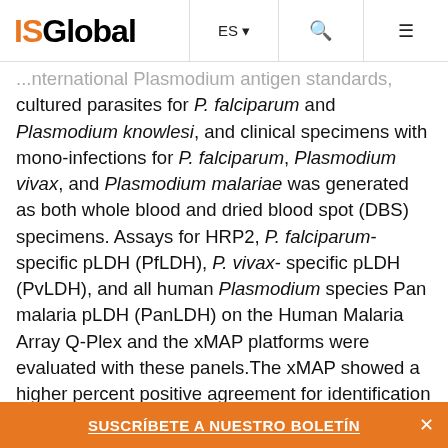ISGlobal — ES | Search | Menu
...international Plasmodium antigen standards, cultured parasites for P. falciparum and Plasmodium knowlesi, and clinical specimens with mono-infections for P. falciparum, Plasmodium vivax, and Plasmodium malariae was generated as both whole blood and dried blood spot (DBS) specimens. Assays for HRP2, P. falciparum-specific pLDH (PfLDH), P. vivax-specific pLDH (PvLDH), and all human Plasmodium species Pan malaria pLDH (PanLDH) on the Human Malaria Array Q-Plex and the xMAP platforms were evaluated with these panels.The xMAP showed a higher percent positive agreement for identification of hrp2-deleted P. falciparum and Plasmodium species in whole blood and DBS than the Q-Plex. For whole blood samples, there w...
SUSCRÍBETE A NUESTRO BOLETÍN